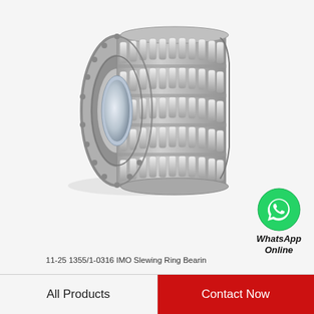[Figure (photo): 3D rendering of an IMO slewing ring bearing with multiple rows of cylindrical rollers, shown in silver/steel finish against light background]
11-25 1355/1-0316 IMO Slewing Ring Bearin
[Figure (logo): WhatsApp green circle icon with phone handset symbol, labeled WhatsApp Online]
11-25 1355/1-0316 IMO Slewing Ring Bearings
All Products
Contact Now